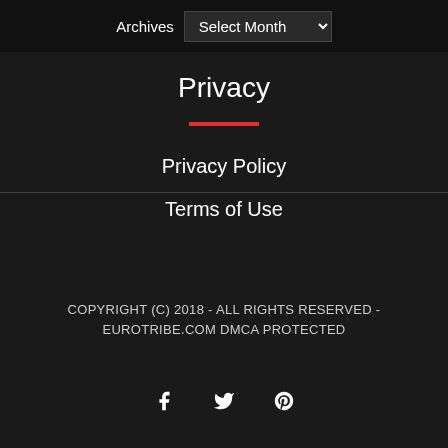Archives  Select Month
Privacy
Privacy Policy
Terms of Use
COPYRIGHT (C) 2018 - ALL RIGHTS RESERVED - EUROTRIBE.COM DMCA PROTECTED